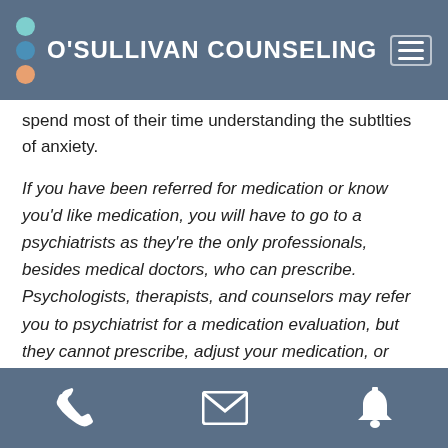O'SULLIVAN COUNSELING
spend most of their time understanding the subtleties of anxiety.
If you have been referred for medication or know you'd like medication, you will have to go to a psychiatrists as they're the only professionals, besides medical doctors, who can prescribe. Psychologists, therapists, and counselors may refer you to psychiatrist for a medication evaluation, but they cannot prescribe, adjust your medication, or advise you on medication.
Finding a therapist who specializes
phone | email | notification